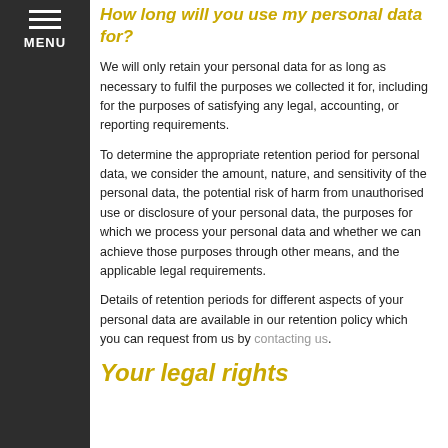MENU
How long will you use my personal data for?
We will only retain your personal data for as long as necessary to fulfil the purposes we collected it for, including for the purposes of satisfying any legal, accounting, or reporting requirements.
To determine the appropriate retention period for personal data, we consider the amount, nature, and sensitivity of the personal data, the potential risk of harm from unauthorised use or disclosure of your personal data, the purposes for which we process your personal data and whether we can achieve those purposes through other means, and the applicable legal requirements.
Details of retention periods for different aspects of your personal data are available in our retention policy which you can request from us by contacting us.
Your legal rights